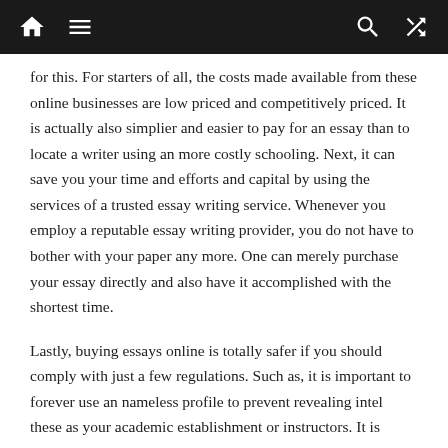Navigation bar with home, menu, search, and shuffle icons
for this. For starters of all, the costs made available from these online businesses are low priced and competitively priced. It is actually also simplier and easier to pay for an essay than to locate a writer using an more costly schooling. Next, it can save you your time and efforts and capital by using the services of a trusted essay writing service. Whenever you employ a reputable essay writing provider, you do not have to bother with your paper any more. One can merely purchase your essay directly and also have it accomplished with the shortest time.
Lastly, buying essays online is totally safer if you should comply with just a few regulations. Such as, it is important to forever use an nameless profile to prevent revealing intel these as your academic establishment or instructors. It is advisable to also preserve your entire